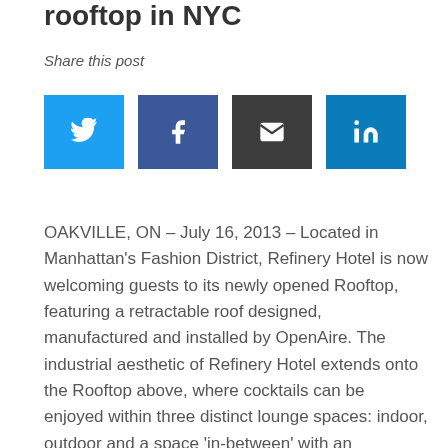rooftop in NYC
Share this post
[Figure (other): Social share buttons: Twitter (blue), Facebook (dark blue), Email (dark grey), LinkedIn (light blue)]
OAKVILLE, ON – July 16, 2013 – Located in Manhattan's Fashion District, Refinery Hotel is now welcoming guests to its newly opened Rooftop, featuring a retractable roof designed, manufactured and installed by OpenAire. The industrial aesthetic of Refinery Hotel extends onto the Rooftop above, where cocktails can be enjoyed within three distinct lounge spaces: indoor, outdoor and a space 'in-between' with an integrated bi-parting skylight.